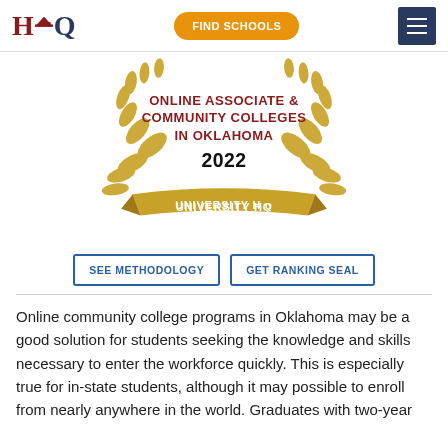HQ | FIND SCHOOLS
[Figure (illustration): Gold laurel wreath badge with text: ONLINE ASSOCIATE & COMMUNITY COLLEGES IN OKLAHOMA 2022 UNIVERSITY HQ]
SEE METHODOLOGY | GET RANKING SEAL
Online community college programs in Oklahoma may be a good solution for students seeking the knowledge and skills necessary to enter the workforce quickly. This is especially true for in-state students, although it may possible to enroll from nearly anywhere in the world. Graduates with two-year